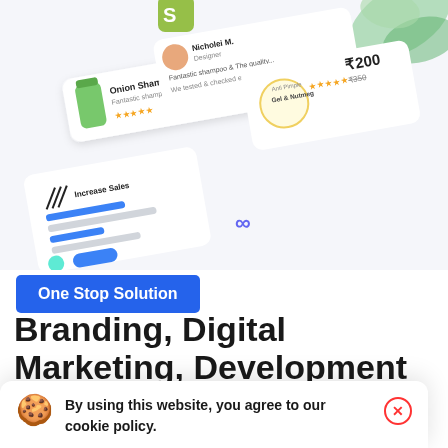[Figure (screenshot): Marketing website screenshot showing mockup cards with product reviews, shampoo product, anti-pimple gel with ₹200 price, increase sales analytics card with bar charts, an infinity/loop icon, and a teal dot with blue pill shape. Also shows a Shopify-like green logo at top and plant decoration top-right.]
One Stop Solution
Branding, Digital Marketing, Development
Ensuring the best return on investment for your
By using this website, you agree to our cookie policy.
anything & everything to grow your business.